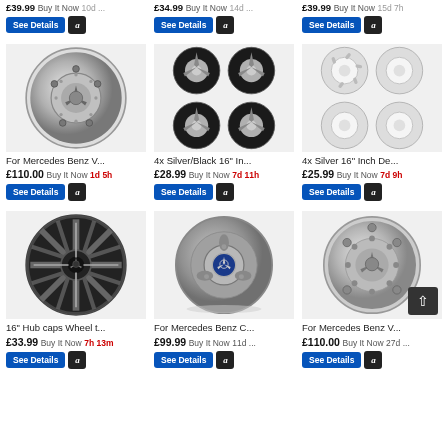£39.99 Buy It Now 10d ...
£34.99 Buy It Now 14d ...
£39.99 Buy It Now 15d 7h
[Figure (photo): Chrome Mercedes-Benz wheel hub cap, circular, silver]
For Mercedes Benz V...
£110.00 Buy It Now 1d 5h
[Figure (photo): 4x Silver/Black 16 inch wheel hub caps set]
4x Silver/Black 16" In...
£28.99 Buy It Now 7d 11h
[Figure (photo): 4x Silver 16 inch wheel hub caps set, four caps]
4x Silver 16" Inch De...
£25.99 Buy It Now 7d 9h
[Figure (photo): Black 16 inch hub cap with Mercedes star logo]
16" Hub caps Wheel t...
£33.99 Buy It Now 7h 13m
[Figure (photo): Mercedes Benz C class wheel hub center cap, silver/grey]
For Mercedes Benz C...
£99.99 Buy It Now 11d ...
[Figure (photo): Chrome Mercedes-Benz V class wheel cover, silver with star logo]
For Mercedes Benz V...
£110.00 Buy It Now 27d ...